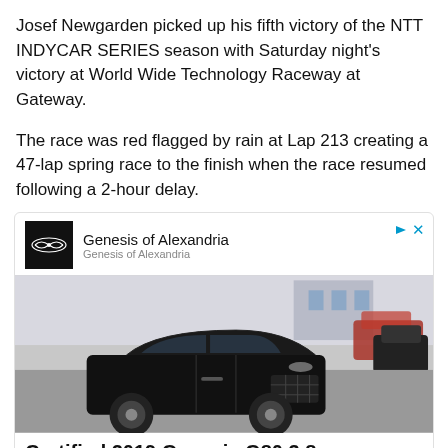Josef Newgarden picked up his fifth victory of the NTT INDYCAR SERIES season with Saturday night's victory at World Wide Technology Raceway at Gateway.
The race was red flagged by rain at Lap 213 creating a 47-lap spring race to the finish when the race resumed following a 2-hour delay.
[Figure (other): Advertisement for Genesis of Alexandria featuring a black Genesis G80 3.8 sedan. Shows Genesis logo on black background, ad title 'Genesis of Alexandria', car image, price $36,979, and OPEN button.]